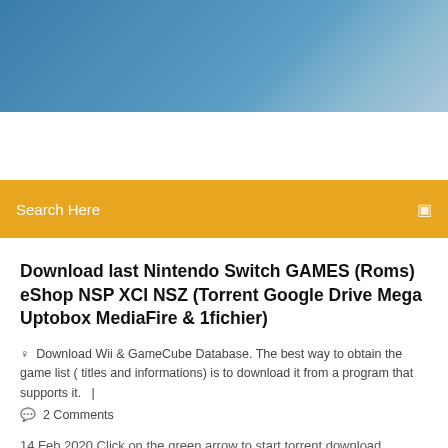[Figure (photo): Blue gradient header banner image]
Search Here
Download last Nintendo Switch GAMES (Roms) eShop NSP XCI NSZ (Torrent Google Drive Mega Uptobox MediaFire & 1fichier)
Download Wii & GameCube Database. The best way to obtain the game list ( titles and informations) is to download it from a program that supports it.   |
2 Comments
14 Feb 2020 Click on the green arrow to start torrent download